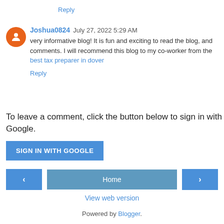Reply
Joshua0824  July 27, 2022 5:29 AM
very informative blog! It is fun and exciting to read the blog, and comments. I will recommend this blog to my co-worker from the best tax preparer in dover
Reply
To leave a comment, click the button below to sign in with Google.
SIGN IN WITH GOOGLE
‹   Home   ›
View web version
Powered by Blogger.